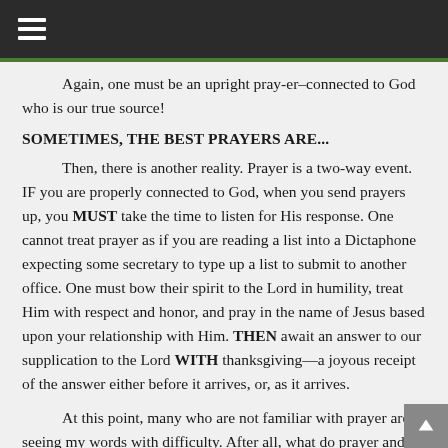☰
Again, one must be an upright pray-er–connected to God who is our true source!
SOMETIMES, THE BEST PRAYERS ARE...
Then, there is another reality. Prayer is a two-way event. IF you are properly connected to God, when you send prayers up, you MUST take the time to listen for His response. One cannot treat prayer as if you are reading a list into a Dictaphone expecting some secretary to type up a list to submit to another office. One must bow their spirit to the Lord in humility, treat Him with respect and honor, and pray in the name of Jesus based upon your relationship with Him. THEN await an answer to our supplication to the Lord WITH thanksgiving—a joyous receipt of the answer either before it arrives, or, as it arrives.
At this point, many who are not familiar with prayer are seeing my words with difficulty. After all, what do prayer and economics have in common? Well, when you are doing things in the KJV Bible way (realizing that God is your source and Lord